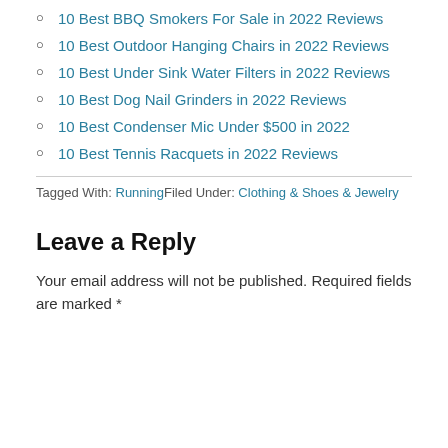10 Best BBQ Smokers For Sale in 2022 Reviews
10 Best Outdoor Hanging Chairs in 2022 Reviews
10 Best Under Sink Water Filters in 2022 Reviews
10 Best Dog Nail Grinders in 2022 Reviews
10 Best Condenser Mic Under $500 in 2022
10 Best Tennis Racquets in 2022 Reviews
Tagged With: RunningFiled Under: Clothing & Shoes & Jewelry
Leave a Reply
Your email address will not be published. Required fields are marked *